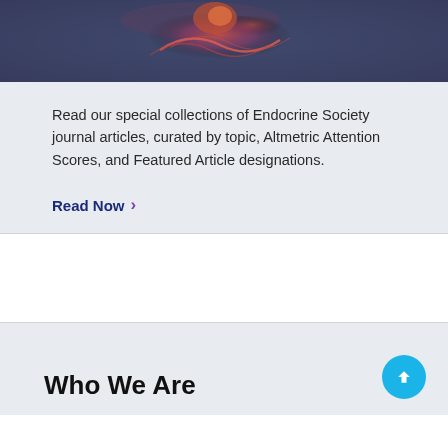[Figure (photo): Close-up biomedical image showing what appears to be a cancer cell or neuron with red and pink highlights against a dark blue-gray background]
Read our special collections of Endocrine Society journal articles, curated by topic, Altmetric Attention Scores, and Featured Article designations.
Read Now >
Who We Are